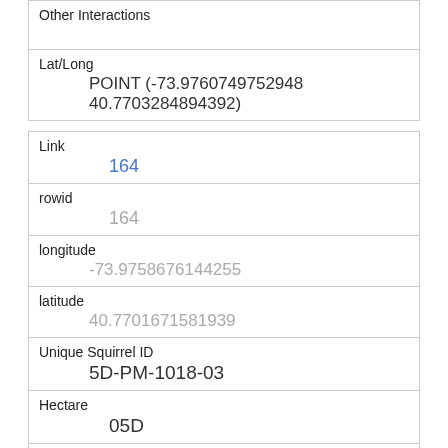| Other Interactions |  |
| Lat/Long | POINT (-73.9760749752948 40.7703284894392) |
| Link | 164 |
| rowid | 164 |
| longitude | -73.9758676144255 |
| latitude | 40.7701671581939 |
| Unique Squirrel ID | 5D-PM-1018-03 |
| Hectare | 05D |
| Shift | PM |
| Date |  |